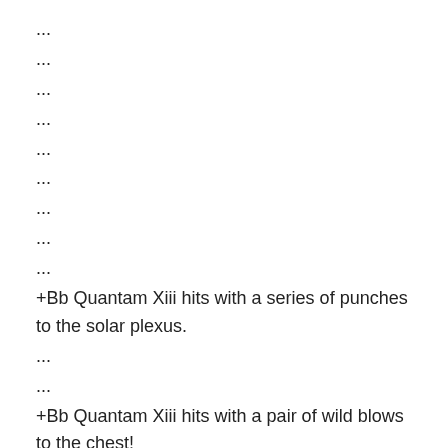...
...
...
...
...
...
...
...
...
+Bb Quantam Xiii hits with a series of punches to the solar plexus.
...
...
+Bb Quantam Xiii hits with a pair of wild blows to the chest!
Bot-190427 tries to attack, but Bb Quantam Xiii hangs on until the referee separates them.
...
...